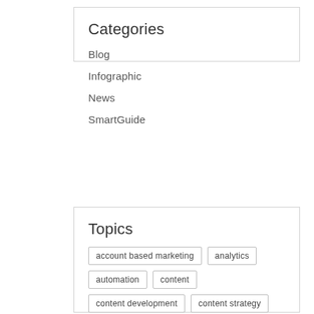Categories
Blog
Infographic
News
SmartGuide
Topics
account based marketing
analytics
automation
content
content development
content strategy